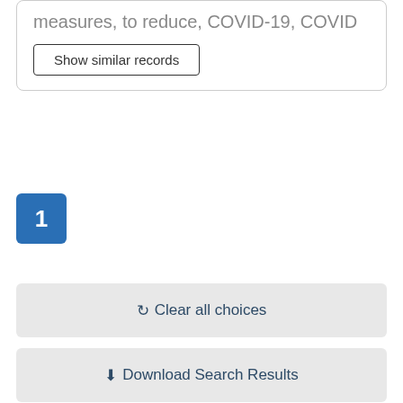measures, to reduce, COVID-19, COVID
Show similar records
1
Clear all choices
Download Search Results
Open Data Portal Catalogue Dataset